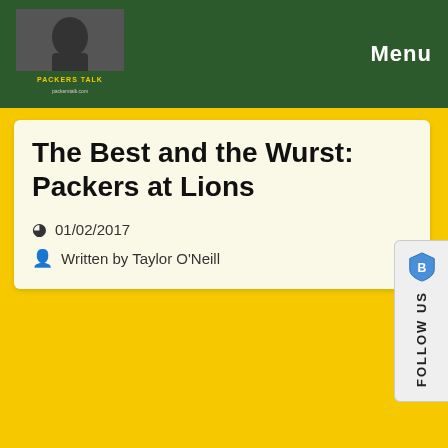PACKERS TALK | Menu
The Best and the Wurst: Packers at Lions
01/02/2017
Written by Taylor O'Neill
[Figure (illustration): Football helmet illustration with yellow and green coloring, labeled 'The Best']